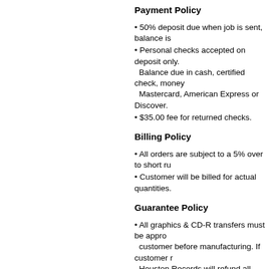Payment Policy
50% deposit due when job is sent, balance is
Personal checks accepted on deposit only. Balance due in cash, certified check, money Mastercard, American Express or Discover.
$35.00 fee for returned checks.
Billing Policy
All orders are subject to a 5% over to short ru
Customer will be billed for actual quantities.
Guarantee Policy
All graphics & CD-R transfers must be appro customer before manufacturing. If customer r Houston Records will refund all monies. How are approved, we will charge for all work per is subsequently cancelled.
Freight F.O.B. Houston
All prices, specials or otherwise are subject to ch
All materials used in the manufacturing of your pr customer requests in writing items to be returned
Houston Records denies liability for any damage materials are in the care, use or possession of Ho
While Houston Records will do everything possib disclaims liability for delays in delivery.
If customer fails to pay for or pick up product with sell, dispose of or use any such material on hand i master tapes, cassettes, compact discs, etc... bec